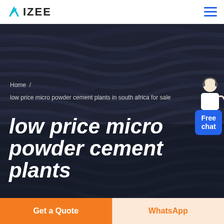IZEE
[Figure (photo): Dark industrial background with wavy horizontal ribbed/striped pattern in dark navy/charcoal tones, representing a cement plant or industrial facility]
Home /
low price micro powder cement plants in south africa for sale
low price micro powder cement plants
[Figure (illustration): Customer service representative in white jacket with headset, with a blue Free chat button below]
Get a Quote
WhatsApp